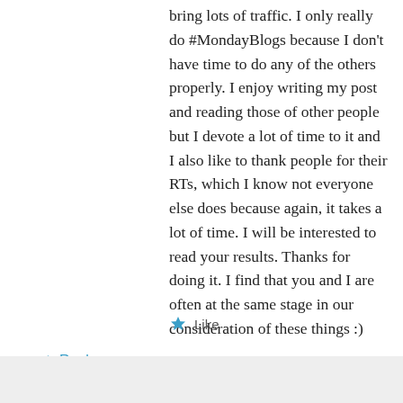bring lots of traffic. I only really do #MondayBlogs because I don't have time to do any of the others properly. I enjoy writing my post and reading those of other people but I devote a lot of time to it and I also like to thank people for their RTs, which I know not everyone else does because again, it takes a lot of time. I will be interested to read your results. Thanks for doing it. I find that you and I are often at the same stage in our consideration of these things :)
Like
Reply